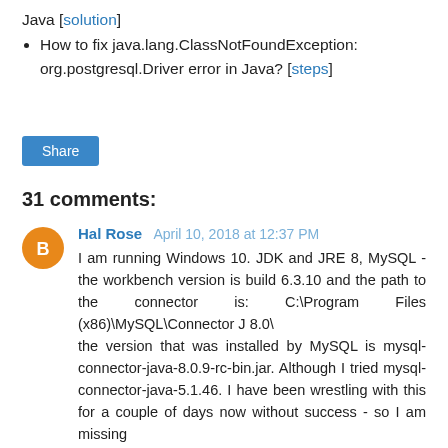Java [solution]
How to fix java.lang.ClassNotFoundException: org.postgresql.Driver error in Java? [steps]
Share
31 comments:
Hal Rose  April 10, 2018 at 12:37 PM
I am running Windows 10. JDK and JRE 8, MySQL - the workbench version is build 6.3.10 and the path to the connector is: C:\Program Files (x86)\MySQL\Connector J 8.0\ the version that was installed by MySQL is mysql-connector-java-8.0.9-rc-bin.jar. Although I tried mysql-connector-java-5.1.46. I have been wrestling with this for a couple of days now without success - so I am missing